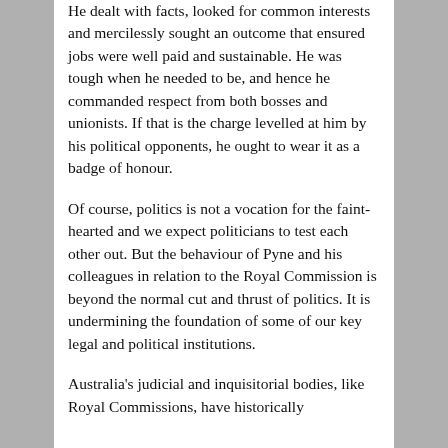He dealt with facts, looked for common interests and mercilessly sought an outcome that ensured jobs were well paid and sustainable. He was tough when he needed to be, and hence he commanded respect from both bosses and unionists. If that is the charge levelled at him by his political opponents, he ought to wear it as a badge of honour.
Of course, politics is not a vocation for the faint-hearted and we expect politicians to test each other out. But the behaviour of Pyne and his colleagues in relation to the Royal Commission is beyond the normal cut and thrust of politics. It is undermining the foundation of some of our key legal and political institutions.
Australia's judicial and inquisitorial bodies, like Royal Commissions, have historically